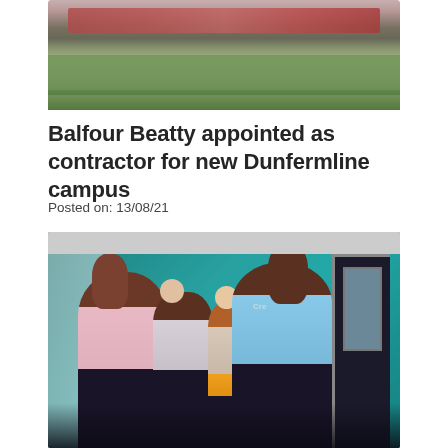[Figure (photo): Top portion of a landscape/garden photo showing red architectural element and green plants/grasses]
Balfour Beatty appointed as contractor for new Dunfermline campus
Posted on: 13/08/21
[Figure (photo): Four young women dancing/performing in front of a teal/turquoise wall, wearing pink and blue hoodies]